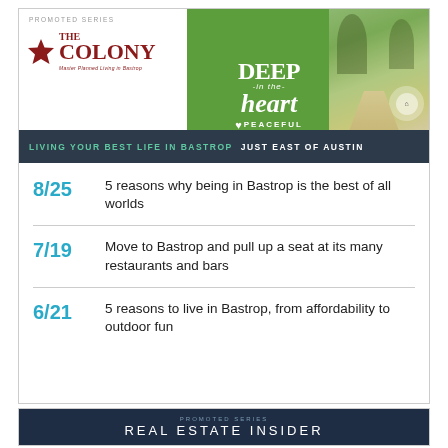[Figure (infographic): The Colony promoted series ad banner with logo on left (star + THE COLONY in dark red, Master Planned Living in Bastrop tagline), green center panel with 'DEEP in the heart PEACEFUL' text, nature photo on right, and dark navy bar at bottom reading 'LIVING YOUR BEST LIFE IN BASTROP  JUST EAST OF AUSTIN']
8/25  5 reasons why being in Bastrop is the best of all worlds
7/19  Move to Bastrop and pull up a seat at its many restaurants and bars
6/21  5 reasons to live in Bastrop, from affordability to outdoor fun
[Figure (infographic): Dark navy banner with 'PROMOTED SERIES' small text above 'REAL ESTATE INSIDER' large white text]